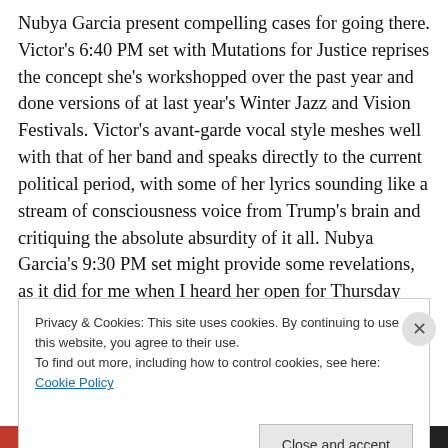Nubya Garcia present compelling cases for going there. Victor's 6:40 PM set with Mutations for Justice reprises the concept she's workshopped over the past year and done versions of at last year's Winter Jazz and Vision Festivals. Victor's avant-garde vocal style meshes well with that of her band and speaks directly to the current political period, with some of her lyrics sounding like a stream of consciousness voice from Trump's brain and critiquing the absolute absurdity of it all. Nubya Garcia's 9:30 PM set might provide some revelations, as it did for me when I heard her open for Thursday night's concert with sax
Privacy & Cookies: This site uses cookies. By continuing to use this website, you agree to their use. To find out more, including how to control cookies, see here: Cookie Policy
Close and accept